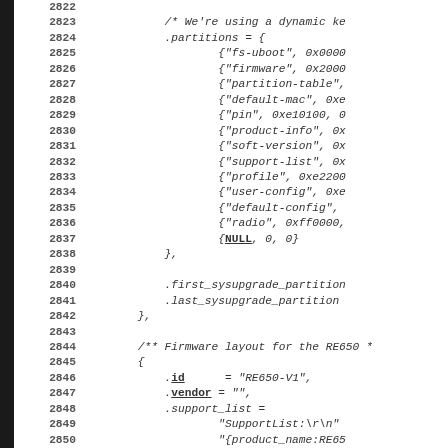[Figure (screenshot): Source code listing showing C struct initialization for firmware partition layout, lines 2822-2851. Includes partition table entries, sysupgrade partition fields, and beginning of RE650 firmware layout struct.]